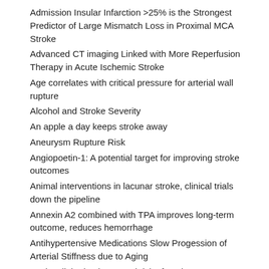Admission Insular Infarction >25% is the Strongest Predictor of Large Mismatch Loss in Proximal MCA Stroke
Advanced CT imaging Linked with More Reperfusion Therapy in Acute Ischemic Stroke
Age correlates with critical pressure for arterial wall rupture
Alcohol and Stroke Severity
An apple a day keeps stroke away
Aneurysm Rupture Risk
Angiopoetin-1: A potential target for improving stroke outcomes
Animal interventions in lacunar stroke, clinical trials down the pipeline
Annexin A2 combined with TPA improves long-term outcome, reduces hemorrhage
Antihypertensive Medications Slow Progession of Arterial Stiffness due to Aging
Anxiety linked to increased risk of stroke
Argatroban preserves learning and memory in a rat stroke model
ASCOD phenotyping of ischemic stroke and overlap of underlying conditions
ASPECTS 0-4? Cath lab no more.
Assessing risk of aneurysm rupture: size isn't everything
Assessment of cerebral microvascular remodeling using CT Perfusion in chronic hyperglycemia
Association of hypertension with stroke occurrence depends on ischemic